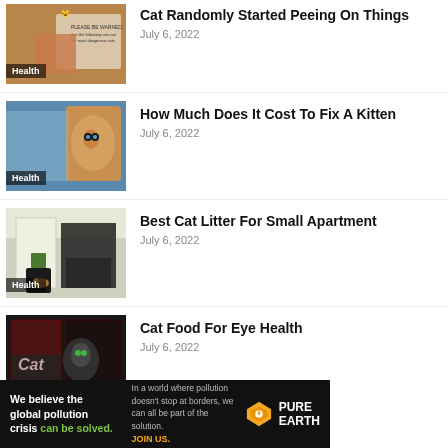[Figure (photo): Orange tabby cat with a note/paper, Health badge]
Cat Randomly Started Peeing On Things
July 6, 2022
[Figure (photo): Orange cat being examined at vet, Health badge]
How Much Does It Cost To Fix A Kitten
July 6, 2022
[Figure (photo): Cat hiding under cabinet in kitchen, Health badge]
Best Cat Litter For Small Apartment
July 6, 2022
[Figure (photo): Bags of cat food products]
Cat Food For Eye Health
July 6, 2022
[Figure (infographic): Pure Earth advertisement banner: We believe the global pollution crisis can be solved.]